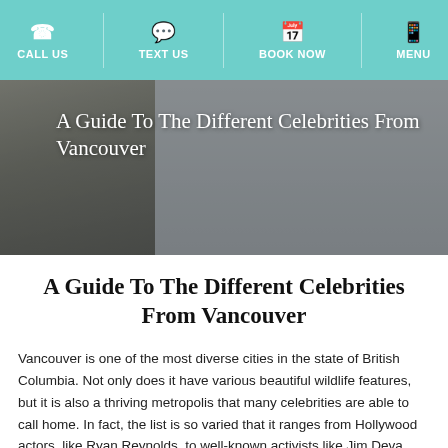CALL US | TEXT US | BOOK NOW | MENU
[Figure (photo): Hero image of a person in a white lab coat, overlaid with the article title 'A Guide To The Different Celebrities From Vancouver' in white serif text on a semi-transparent dark background]
A Guide To The Different Celebrities From Vancouver
Vancouver is one of the most diverse cities in the state of British Columbia. Not only does it have various beautiful wildlife features, but it is also a thriving metropolis that many celebrities are able to call home. In fact, the list is so varied that it ranges from Hollywood actors, like Ryan Reynolds, to well-known activists like Jim Deva. This article will provide information on the various celebrities from